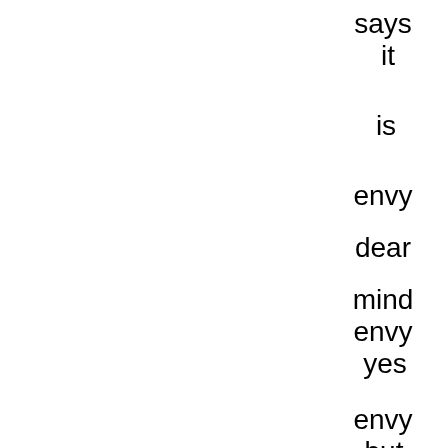says
it

is

envy

dear

mind
envy
yes

envy
but

it